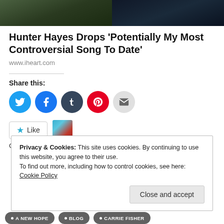[Figure (photo): Banner image showing outdoor scene on left and indoor/concert scene on right, dark tones]
Hunter Hayes Drops 'Potentially My Most Controversial Song To Date'
www.iheart.com
Share this:
[Figure (infographic): Social sharing buttons: Twitter (blue), Facebook (blue), Tumblr (dark), Pinterest (red), Email (gray)]
[Figure (infographic): Like button with star icon and avatar thumbnail. One blogger likes this.]
One blogger likes this.
Privacy & Cookies: This site uses cookies. By continuing to use this website, you agree to their use.
To find out more, including how to control cookies, see here: Cookie Policy
Close and accept
• A NEW HOPE   • BLOG   • CARRIE FISHER